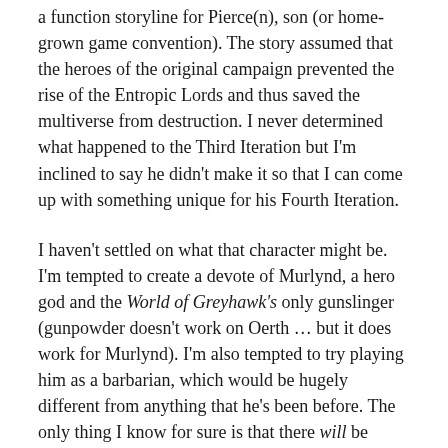a function storyline for Pierce(n), son (or home-grown game convention). The story assumed that the heroes of the original campaign prevented the rise of the Entropic Lords and thus saved the multiverse from destruction. I never determined what happened to the Third Iteration but I'm inclined to say he didn't make it so that I can come up with something unique for his Fourth Iteration.
I haven't settled on what that character might be. I'm tempted to create a devote of Murlynd, a hero god and the World of Greyhawk's only gunslinger (gunpowder doesn't work on Oerth … but it does work for Murlynd). I'm also tempted to try playing him as a barbarian, which would be hugely different from anything that he's been before. The only thing I know for sure is that there will be another Zilanderan. He's probably doomed to die yet again … but that's part of the fun.